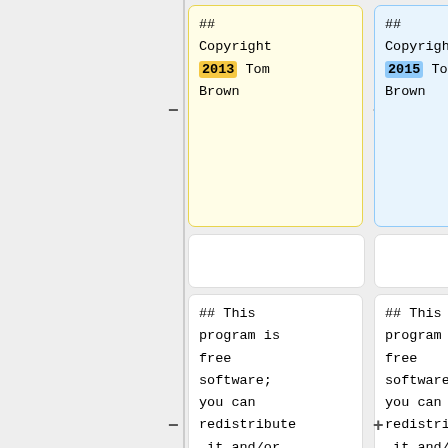[Figure (screenshot): Code diff view showing two columns. Left column (old version 2013) and right column (new version 2015). Shows copyright blocks, free software license text, Line 55 labels, triple-quote blocks, and version number changes from 0.4 to 0.6.]